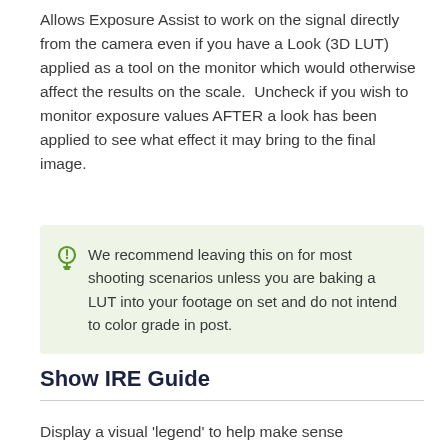Allows Exposure Assist to work on the signal directly from the camera even if you have a Look (3D LUT) applied as a tool on the monitor which would otherwise affect the results on the scale.  Uncheck if you wish to monitor exposure values AFTER a look has been applied to see what effect it may bring to the final image.
We recommend leaving this on for most shooting scenarios unless you are baking a LUT into your footage on set and do not intend to color grade in post.
Show IRE Guide
Display a visual 'legend' to help make sense